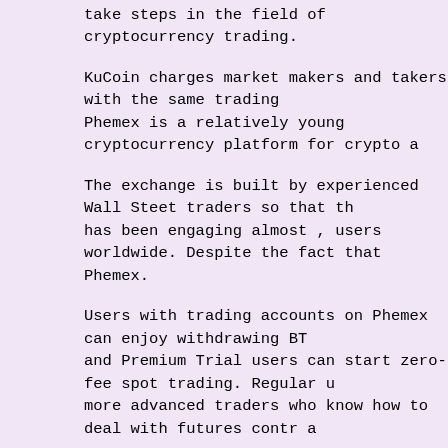take steps in the field of cryptocurrency trading.
KuCoin charges market makers and takers with the same trading Phemex is a relatively young cryptocurrency platform for crypto a
The exchange is built by experienced Wall Steet traders so that th has been engaging almost , users worldwide. Despite the fact that Phemex.
Users with trading accounts on Phemex can enjoy withdrawing BT and Premium Trial users can start zero-fee spot trading. Regular u more advanced traders who know how to deal with futures contr a
Nevertheless, those willing to buy bitcoin futures without fees are commission fees that can be charged. Before you get into zero-fe e might be involved.
Probably one of those crypto exchanges that allow for free bitcoin no fees for trading and cryptocurrency deposits.
However, pay close attention to withdrawal operations that have c a withdrawal transaction fee will be 0.
Also, a deposit transaction fee if you use payment systems and cre trading spots that will provide you with an absolutely zero-fee trad highly recommended to do your own research.